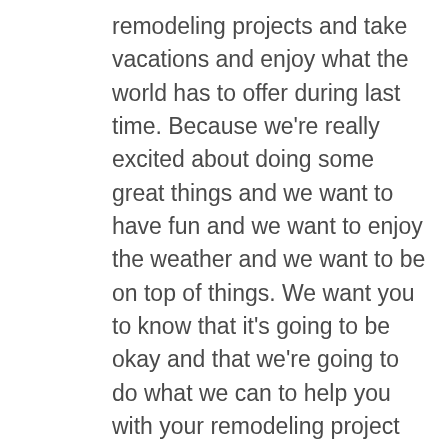remodeling projects and take vacations and enjoy what the world has to offer during last time. Because we're really excited about doing some great things and we want to have fun and we want to enjoy the weather and we want to be on top of things. We want you to know that it's going to be okay and that we're going to do what we can to help you with your remodeling project ideas and that we can move you along to have some great fun and that we can just smile and take it all in and enjoy the weather because that's what we want you to do. Basement remodeling Milwaukee is always here to help you do some great things and we want to have fun with everything that we do here at basement remodeling Milwaukee. You